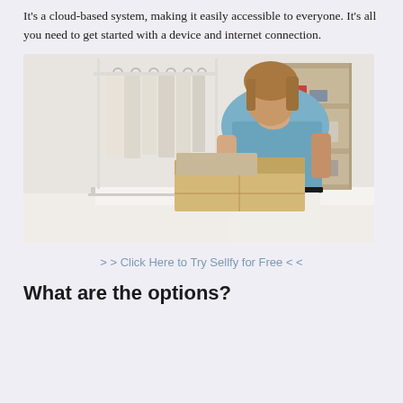It's a cloud-based system, making it easily accessible to everyone. It's all you need to get started with a device and internet connection.
[Figure (photo): A woman with short hair wearing a blue top and white skirt, packing or labeling a cardboard box on a white table. Behind her is a clothing rack with beige/white garments and a wooden shelving unit.]
> > Click Here to Try Sellfy for Free < <
What are the options?